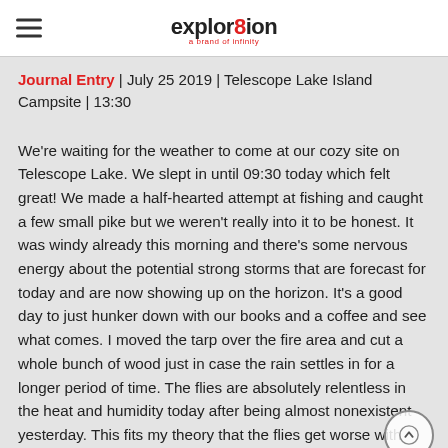explor8ion
Journal Entry | July 25 2019 | Telescope Lake Island Campsite | 13:30
We're waiting for the weather to come at our cozy site on Telescope Lake. We slept in until 09:30 today which felt great! We made a half-hearted attempt at fishing and caught a few small pike but we weren't really into it to be honest. It was windy already this morning and there's some nervous energy about the potential strong storms that are forecast for today and are now showing up on the horizon. It's a good day to just hunker down with our books and a coffee and see what comes. I moved the tarp over the fire area and cut a whole bunch of wood just in case the rain settles in for a longer period of time. The flies are absolutely relentless in the heat and humidity today after being almost nonexistent yesterday. This fits my theory that the flies get worse with humidity,